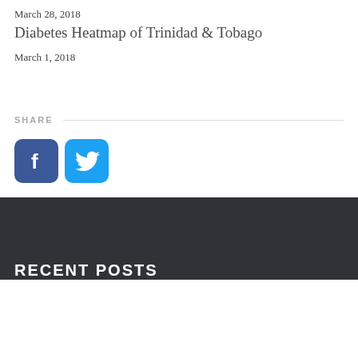March 28, 2018
Diabetes Heatmap of Trinidad & Tobago
March 1, 2018
SHARE
[Figure (logo): Facebook and Twitter social sharing icons]
RECENT POSTS